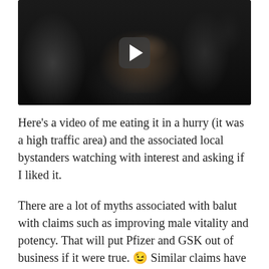[Figure (screenshot): Video thumbnail showing a person eating in a crowded area with a play button overlay. Dark background with people visible.]
Here's a video of me eating it in a hurry (it was a high traffic area) and the associated local bystanders watching with interest and asking if I liked it.
There are a lot of myths associated with balut with claims such as improving male vitality and potency. That will put Pfizer and GSK out of business if it were true. 😉 Similar claims have been made on dog meat, snake blood and bull's